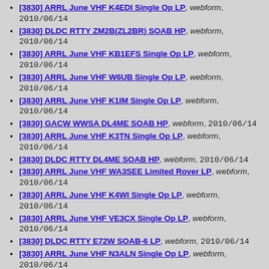[3830] ARRL June VHF K4EDI Single Op LP, webform, 2010/06/14
[3830] DLDC RTTY ZM2B(ZL2BR) SOAB HP, webform, 2010/06/14
[3830] ARRL June VHF KB1EFS Single Op LP, webform, 2010/06/14
[3830] ARRL June VHF W6UB Single Op LP, webform, 2010/06/14
[3830] ARRL June VHF K1IM Single Op LP, webform, 2010/06/14
[3830] GACW WWSA DL4ME SOAB HP, webform, 2010/06/14
[3830] ARRL June VHF K3TN Single Op LP, webform, 2010/06/14
[3830] DLDC RTTY DL4ME SOAB HP, webform, 2010/06/14
[3830] ARRL June VHF WA3SEE Limited Rover LP, webform, 2010/06/14
[3830] ARRL June VHF K4WI Single Op LP, webform, 2010/06/14
[3830] ARRL June VHF VE3CX Single Op LP, webform, 2010/06/14
[3830] DLDC RTTY E72W SOAB-6 LP, webform, 2010/06/14
[3830] ARRL June VHF N3ALN Single Op LP, webform, 2010/06/14
[3830] ARRL June VHF W5SXD Single Op LP, webform, 2010/06/14